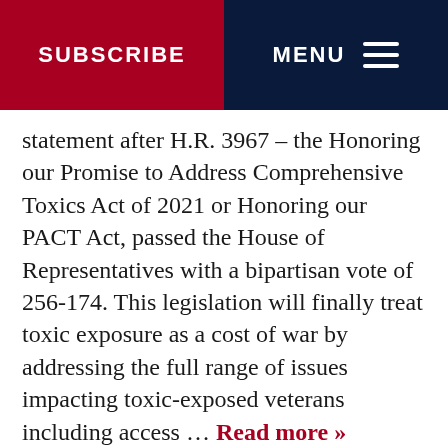SUBSCRIBE | MENU
statement after H.R. 3967 – the Honoring our Promise to Address Comprehensive Toxics Act of 2021 or Honoring our PACT Act, passed the House of Representatives with a bipartisan vote of 256-174. This legislation will finally treat toxic exposure as a cost of war by addressing the full range of issues impacting toxic-exposed veterans including access … Read more »
A Record 2.7 Million Floridians Tap Lower